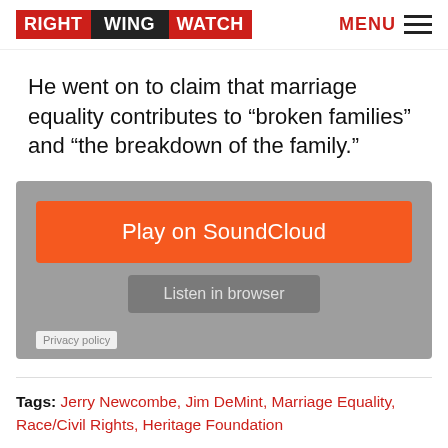RIGHT WING WATCH  MENU
He went on to claim that marriage equality contributes to “broken families” and “the breakdown of the family.”
[Figure (screenshot): SoundCloud embedded audio player with orange 'Play on SoundCloud' button, grey 'Listen in browser' button, and 'Privacy policy' label, on a grey background.]
Tags: Jerry Newcombe, Jim DeMint, Marriage Equality, Race/Civil Rights, Heritage Foundation